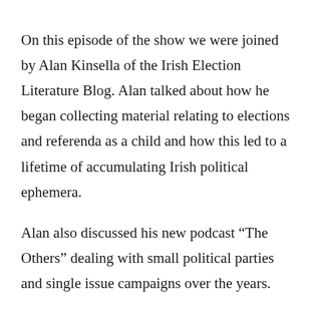On this episode of the show we were joined by Alan Kinsella of the Irish Election Literature Blog. Alan talked about how he began collecting material relating to elections and referenda as a child and how this led to a lifetime of accumulating Irish political ephemera.
Alan also discussed his new podcast “The Others” dealing with small political parties and single issue campaigns over the years.